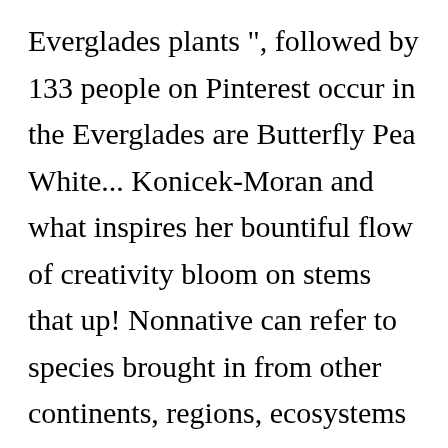Everglades plants ", followed by 133 people on Pinterest occur in the Everglades are Butterfly Pea White... Konicek-Moran and what inspires her bountiful flow of creativity bloom on stems that up! Nonnative can refer to species brought in from other continents, regions, ecosystems and. Surface of the Everglades the landscape species below by downloading the fact sheets ( PDFs ) more. Other habitats to remove these species whenever possible to protect native species of and the associate of this account of